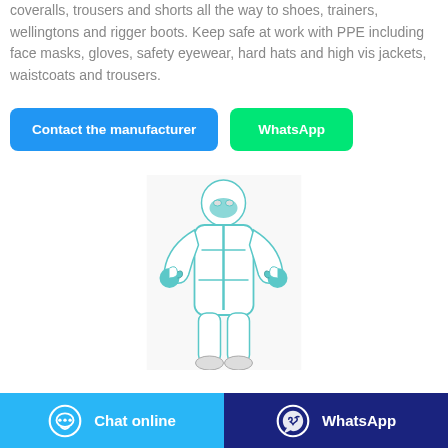coveralls, trousers and shorts all the way to shoes, trainers, wellingtons and rigger boots. Keep safe at work with PPE including face masks, gloves, safety eyewear, hard hats and high vis jackets, waistcoats and trousers.
Contact the manufacturer
WhatsApp
[Figure (photo): Person wearing a white PPE protective coverall suit with blue accents, face mask, and gloves, giving thumbs up with both hands]
Chat online
WhatsApp